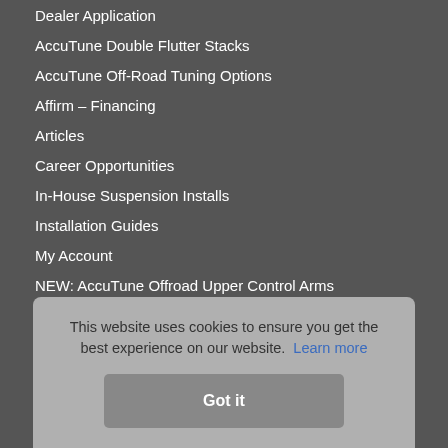Dealer Application
AccuTune Double Flutter Stacks
AccuTune Off-Road Tuning Options
Affirm – Financing
Articles
Career Opportunities
In-House Suspension Installs
Installation Guides
My Account
NEW: AccuTune Offroad Upper Control Arms
Newsletter
Pr…
Sh…
Te…
Te…
This website uses cookies to ensure you get the best experience on our website. Learn more
Got it